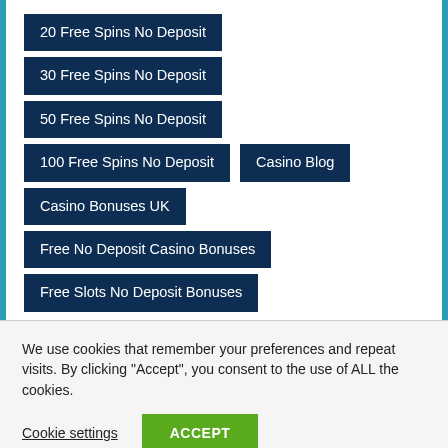20 Free Spins No Deposit
30 Free Spins No Deposit
50 Free Spins No Deposit
100 Free Spins No Deposit
Casino Blog
Casino Bonuses UK
Free No Deposit Casino Bonuses
Free Slots No Deposit Bonuses
We use cookies that remember your preferences and repeat visits. By clicking “Accept”, you consent to the use of ALL the cookies.
Cookie settings
ACCEPT